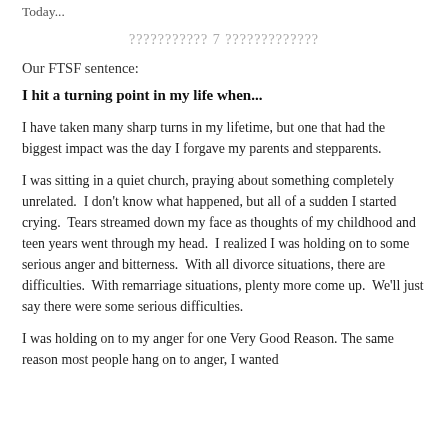Today...
??????????? 7 ?????????????
Our FTSF sentence:
I hit a turning point in my life when...
I have taken many sharp turns in my lifetime, but one that had the biggest impact was the day I forgave my parents and stepparents.
I was sitting in a quiet church, praying about something completely unrelated.  I don't know what happened, but all of a sudden I started crying.  Tears streamed down my face as thoughts of my childhood and teen years went through my head.  I realized I was holding on to some serious anger and bitterness.  With all divorce situations, there are difficulties.  With remarriage situations, plenty more come up.  We'll just say there were some serious difficulties.
I was holding on to my anger for one Very Good Reason. The same reason most people hang on to anger, I wanted...